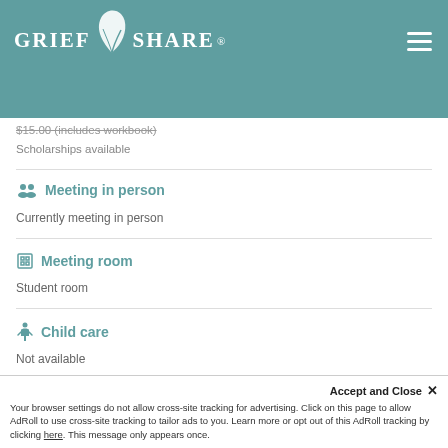GriefShare
$15.00 (includes workbook)
Scholarships available
Meeting in person
Currently meeting in person
Meeting room
Student room
Child care
Not available
Accept and Close ×
Your browser settings do not allow cross-site tracking for advertising. Click on this page to allow AdRoll to use cross-site tracking to tailor ads to you. Learn more or opt out of this AdRoll tracking by clicking here. This message only appears once.